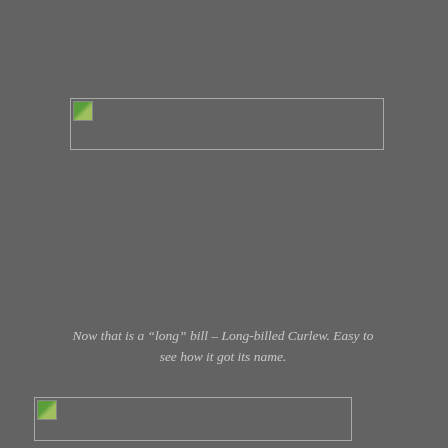[Figure (photo): Broken image placeholder - top, wide horizontal rectangle with small broken image icon in top-left corner]
Now that is a “long” bill – Long-billed Curlew. Easy to see how it got its name.
[Figure (photo): Broken image placeholder - bottom, wide horizontal rectangle with small broken image icon in top-left corner]